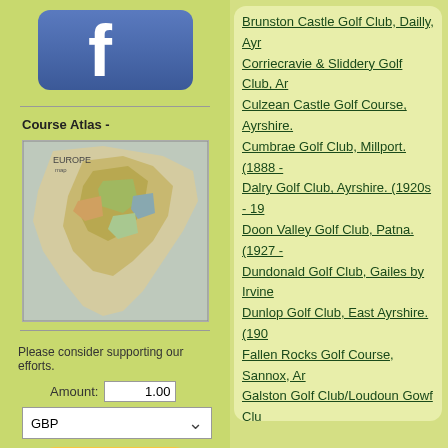[Figure (logo): Facebook logo - blue square with white 'f' letter]
Course Atlas -
[Figure (map): Map of Europe with colored regions]
Please consider supporting our efforts.
Amount: 1.00
GBP
Donate
Brunston Castle Golf Club, Dailly, Ayr
Corriecravie & Sliddery Golf Club, Ar
Culzean Castle Golf Course, Ayrshire.
Cumbrae Golf Club, Millport. (1888 -
Dalry Golf Club, Ayrshire. (1920s - 19
Doon Valley Golf Club, Patna. (1927 -
Dundonald Golf Club, Gailes by Irvine
Dunlop Golf Club, East Ayrshire. (190
Fallen Rocks Golf Course, Sannox, Ar
Galston Golf Club/Loudoun Gowf Clu
Garnock Golf Club, Kilburnie. (1908 –
Kildonan Golf Club, Arran. (1907 - 197
Kilmarnock Municipal Golf Club, Cap
Lenamhor Golf Club, Arran. (1905 -W